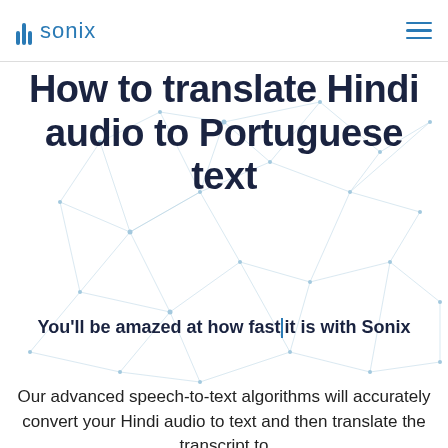Sonix
[Figure (illustration): Abstract network/polygon mesh background illustration with light blue interconnected nodes and lines on white background]
How to translate Hindi audio to Portuguese text
You'll be amazed at how fast it is with Sonix
Our advanced speech-to-text algorithms will accurately convert your Hindi audio to text and then translate the transcript to